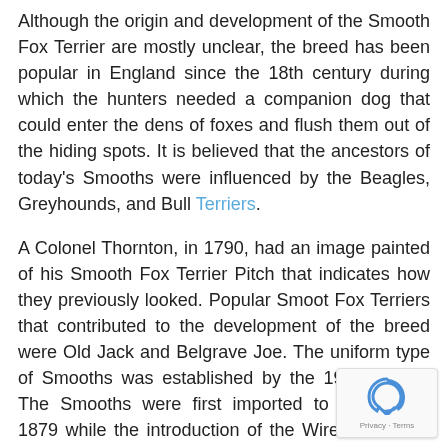Although the origin and development of the Smooth Fox Terrier are mostly unclear, the breed has been popular in England since the 18th century during which the hunters needed a companion dog that could enter the dens of foxes and flush them out of the hiding spots. It is believed that the ancestors of today's Smooths were influenced by the Beagles, Greyhounds, and Bull Terriers.
A Colonel Thornton, in 1790, had an image painted of his Smooth Fox Terrier Pitch that indicates how they previously looked. Popular Smoot Fox Terriers that contributed to the development of the breed were Old Jack and Belgrave Joe. The uniform type of Smooths was established by the 19th century. The Smooths were first imported to America in 1879 while the introduction of the Wire followed a few years later. It gained popularity in the 1920s, as RCA used an image of an SFT named Nipper in its logo.